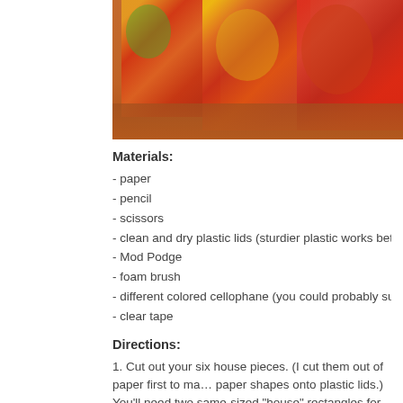[Figure (photo): Colorful translucent resin or cellophane blocks/houses on a reflective surface, glowing with orange, red, green, and yellow colors]
Materials:
- paper
- pencil
- scissors
- clean and dry plastic lids (sturdier plastic works better than flimsier
- Mod Podge
- foam brush
- different colored cellophane (you could probably substitute colored
- clear tape
Directions:
1.  Cut out your six house pieces. (I cut them out of paper first to ma… paper shapes onto plastic lids.)  You'll need two same-sized "house" rectangles for the roof,  and two rectangles for the side of your hous… roof pieces four identical squares so that I wouldn't have to worry to…